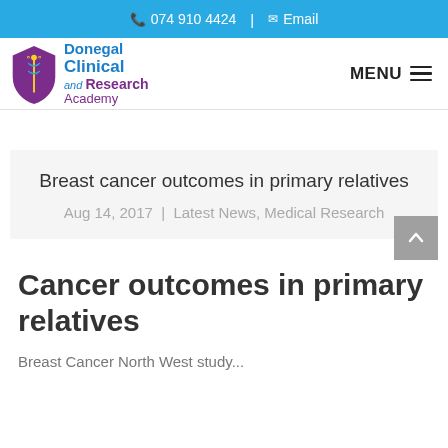074 910 4424  |  Email
[Figure (logo): Donegal Clinical and Research Academy logo with shield emblem]
Breast cancer outcomes in primary relatives
Aug 14, 2017 | Latest News, Medical Research
Cancer outcomes in primary relatives
Breast Cancer North West study...